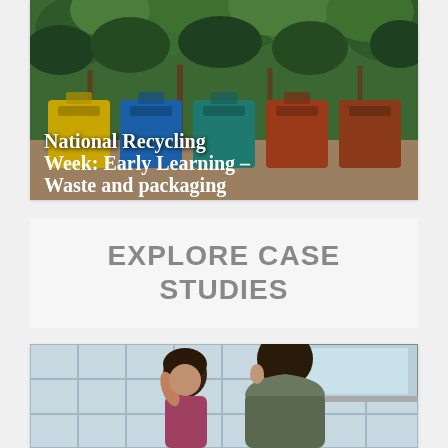[Figure (photo): Photo of colorful recycling bins (yellow, blue, teal, red/brown) in front of green leafy plants, with white bold text overlay reading 'National Recycling Week: Early Learning – Waste and packaging']
EXPLORE CASE STUDIES
[Figure (photo): Photo of two children (a girl with dark hair and a boy in a grey hoodie) near a white tiled wall with a window, appearing to look at something together]